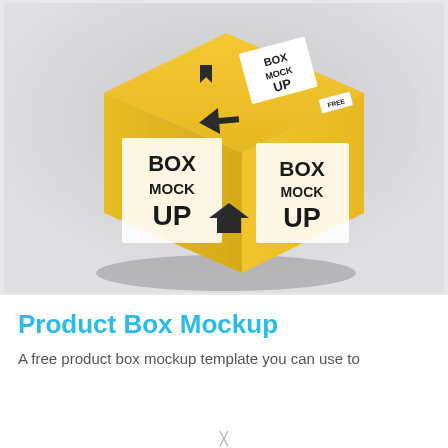[Figure (photo): A 3D rendered yellow cardboard box mockup on a gray background. The box has white label stickers on the top and two visible sides, each reading 'BOX MOCK UP' in bold black text. A small white sticker on the top right reads 'FREE'. The box casts a shadow beneath it.]
Product Box Mockup
A free product box mockup template you can use to